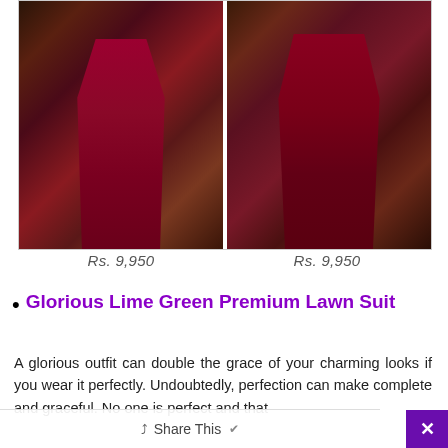[Figure (photo): Two fashion model photos side by side showing a woman in a red/maroon embroidered premium lawn suit. Left photo shows front view, right photo shows back view. Both set against a rocky/stone background outdoors.]
Rs. 9,950
Rs. 9,950
Glorious Lime Green Premium Lawn Suit
A glorious outfit can double the grace of your charming looks if you wear it perfectly. Undoubtedly, perfection can make complete and graceful. No one is perfect and that